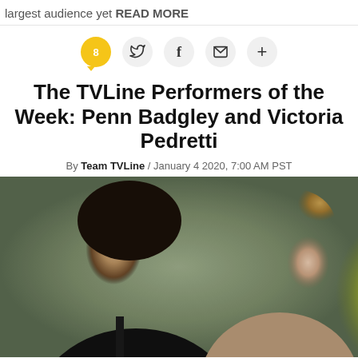largest audience yet READ MORE
8 (comment icon) (twitter icon) (facebook icon) (email icon) (+)
The TVLine Performers of the Week: Penn Badgley and Victoria Pedretti
By Team TVLine / January 4 2020, 7:00 AM PST
[Figure (photo): Two actors (Penn Badgley and Victoria Pedretti) in a scene, man in dark suit on left, woman on right with blonde hair up, blurred outdoor background]